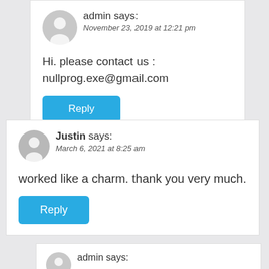admin says: November 23, 2019 at 12:21 pm
Hi. please contact us : nullprog.exe@gmail.com
Reply
Justin says: March 6, 2021 at 8:25 am
worked like a charm. thank you very much.
Reply
admin says: